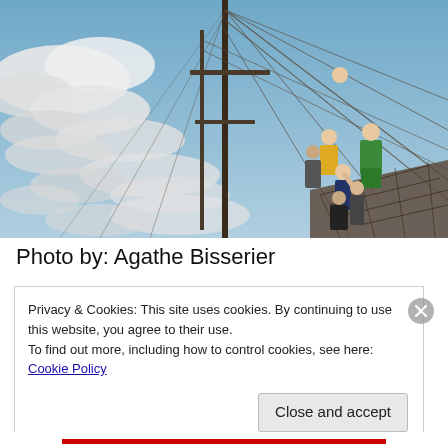[Figure (photo): People climbing the mast rigging of a tall sailing ship against a partly cloudy blue sky. Several people in colorful clothing are visible on the mast structure, including someone in a green shirt, someone in a yellow top, and others. The ship has multiple ropes and rigging lines. The scene is outdoors in daylight.]
Photo by: Agathe Bisserier
Privacy & Cookies: This site uses cookies. By continuing to use this website, you agree to their use.
To find out more, including how to control cookies, see here: Cookie Policy